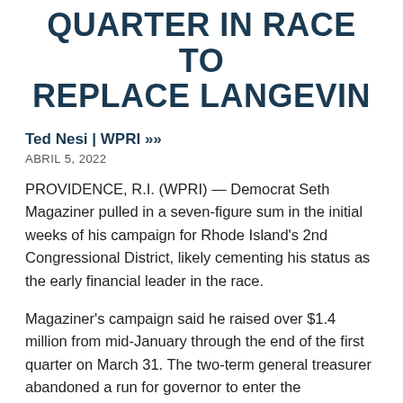QUARTER IN RACE TO REPLACE LANGEVIN
Ted Nesi | WPRI >>
ABRIL 5, 2022
PROVIDENCE, R.I. (WPRI) — Democrat Seth Magaziner pulled in a seven-figure sum in the initial weeks of his campaign for Rhode Island's 2nd Congressional District, likely cementing his status as the early financial leader in the race.
Magaziner's campaign said he raised over $1.4 million from mid-January through the end of the first quarter on March 31. The two-term general treasurer abandoned a run for governor to enter the congressional contest after Jim